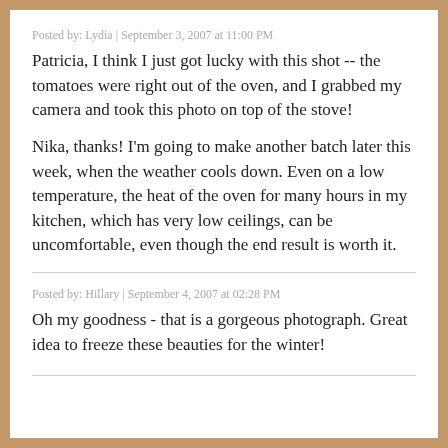Posted by: Lydia | September 3, 2007 at 11:00 PM
Patricia, I think I just got lucky with this shot -- the tomatoes were right out of the oven, and I grabbed my camera and took this photo on top of the stove!

Nika, thanks! I'm going to make another batch later this week, when the weather cools down. Even on a low temperature, the heat of the oven for many hours in my kitchen, which has very low ceilings, can be uncomfortable, even though the end result is worth it.
Posted by: Hillary | September 4, 2007 at 02:28 PM
Oh my goodness - that is a gorgeous photograph. Great idea to freeze these beauties for the winter!